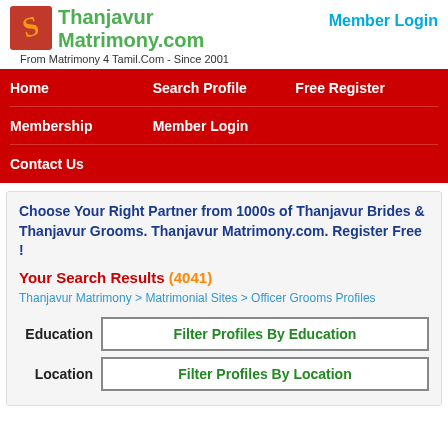ThanjavurMatrimony.com | Member Login | From Matrimony 4 Tamil.Com - Since 2001
Home
Search Profile
Free Register
Membership
Member Login
Contact Us
Choose Your Right Partner from 1000s of Thanjavur Brides & Thanjavur Grooms. Thanjavur Matrimony.com. Register Free !
Your Search Results (4041)
Thanjavur Matrimony > Matrimonial Sites > Officer Grooms Profiles
Education   Filter Profiles By Education
Location   Filter Profiles By Location